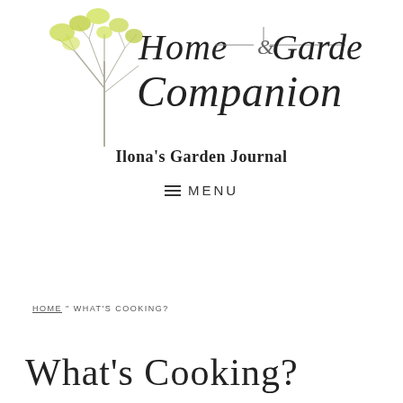[Figure (logo): Home & Garden Companion logo with a stylized tree illustration and cursive/script text reading 'Home & Garden Companion' above 'Ilona's Garden Journal' in serif bold]
≡ MENU
HOME " WHAT'S COOKING?
What's Cooking?